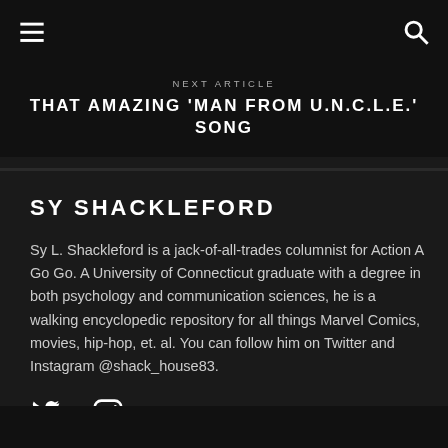☰  🔍
NEXT ARTICLE
THAT AMAZING 'MAN FROM U.N.C.L.E.' SONG
SY SHACKLEFORD
Sy L. Shackleford is a jack-of-all-trades columnist for Action A Go Go. A University of Connecticut graduate with a degree in both psychology and communication sciences, he is a walking encyclopedic repository for all things Marvel Comics, movies, hip-hop, et. al. You can follow him on Twitter and Instagram @shack_house83.
[Figure (illustration): Twitter and Instagram social media icons]